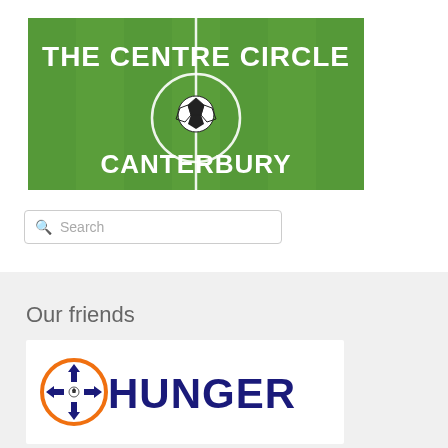[Figure (logo): The Centre Circle Canterbury logo — green football pitch background with a football at the centre circle, white bold text reading 'THE CENTRE CIRCLE' at top and 'CANTERBURY' at bottom]
[Figure (screenshot): Search box with magnifying glass icon and placeholder text 'Search']
Our friends
[Figure (logo): Hungerball logo — orange circle with a dark blue arrow/cross icon and bold dark blue text 'HUNGERBALL']